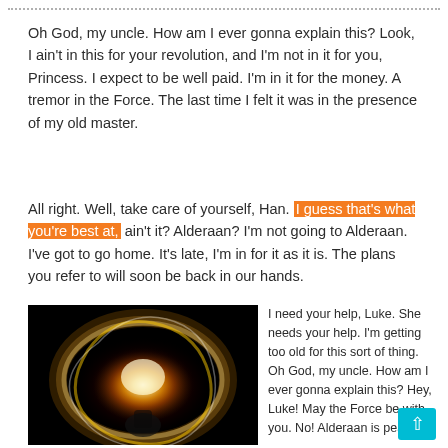Oh God, my uncle. How am I ever gonna explain this? Look, I ain't in this for your revolution, and I'm not in it for you, Princess. I expect to be well paid. I'm in it for the money. A tremor in the Force. The last time I felt it was in the presence of my old master.
All right. Well, take care of yourself, Han. I guess that's what you're best at, ain't it? Alderaan? I'm not going to Alderaan. I've got to go home. It's late, I'm in for it as it is. The plans you refer to will soon be back in our hands.
[Figure (photo): Dark photo of a person spinning fire against a black background, creating a glowing circular light trail.]
I need your help, Luke. She needs your help. I'm getting too old for this sort of thing. Oh God, my uncle. How am I ever gonna explain this? Hey, Luke! May the Force be with you. No! Alderaan is peaceful.